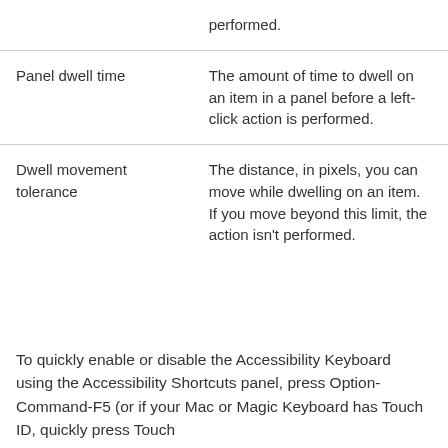| Term | Description |
| --- | --- |
|  | performed. |
| Panel dwell time | The amount of time to dwell on an item in a panel before a left-click action is performed. |
| Dwell movement tolerance | The distance, in pixels, you can move while dwelling on an item. If you move beyond this limit, the action isn’t performed. |
To quickly enable or disable the Accessibility Keyboard using the Accessibility Shortcuts panel, press Option-Command-F5 (or if your Mac or Magic Keyboard has Touch ID, quickly press Touch